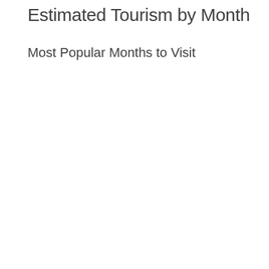Estimated Tourism by Month
Most Popular Months to Visit